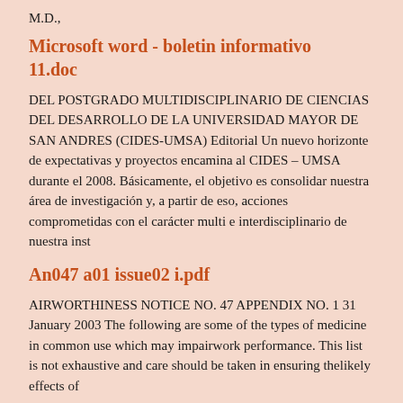M.D.,
Microsoft word - boletin informativo 11.doc
DEL POSTGRADO MULTIDISCIPLINARIO DE CIENCIAS DEL DESARROLLO DE LA UNIVERSIDAD MAYOR DE SAN ANDRES (CIDES-UMSA) Editorial Un nuevo horizonte de expectativas y proyectos encamina al CIDES – UMSA durante el 2008. Básicamente, el objetivo es consolidar nuestra área de investigación y, a partir de eso, acciones comprometidas con el carácter multi e interdisciplinario de nuestra inst
An047 a01 issue02 i.pdf
AIRWORTHINESS NOTICE NO. 47 APPENDIX NO. 1 31 January 2003 The following are some of the types of medicine in common use which may impairwork performance. This list is not exhaustive and care should be taken in ensuring thelikely effects of